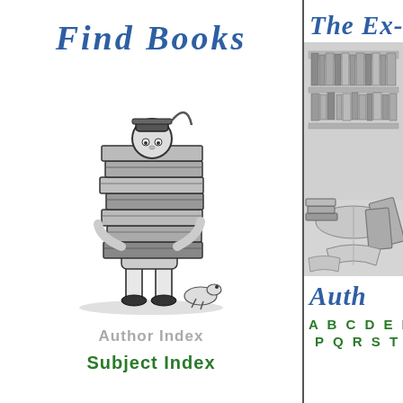Find Books
[Figure (illustration): Black and white Victorian-style illustration of a small figure barely visible behind a tall stack of books, with a small dog at the feet]
Author Index
Subject Index
The Ex-Cla
[Figure (illustration): Grayscale vintage illustration of scattered open books and bookcases in a library or study room]
Auth
A B C D E F G
P Q R S T